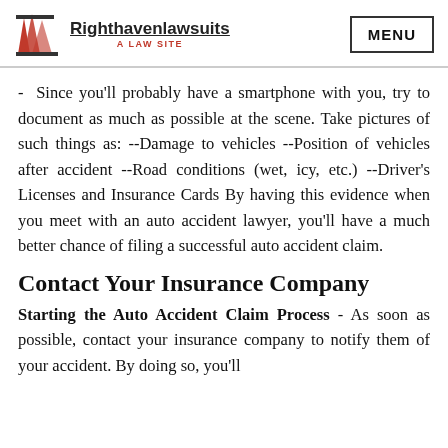Righthavenlawsuits – A LAW SITE | MENU
- Since you'll probably have a smartphone with you, try to document as much as possible at the scene. Take pictures of such things as: --Damage to vehicles --Position of vehicles after accident --Road conditions (wet, icy, etc.) --Driver's Licenses and Insurance Cards By having this evidence when you meet with an auto accident lawyer, you'll have a much better chance of filing a successful auto accident claim.
Contact Your Insurance Company
Starting the Auto Accident Claim Process - As soon as possible, contact your insurance company to notify them of your accident. By doing so, you'll